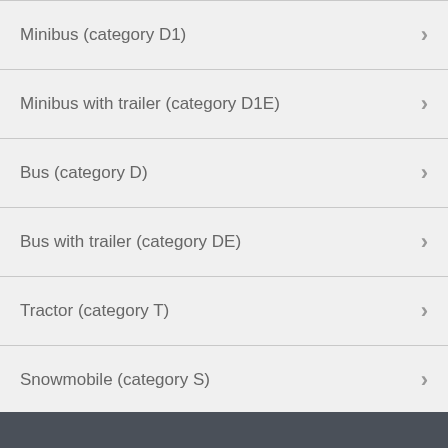Minibus (category D1)
Minibus with trailer (category D1E)
Bus (category D)
Bus with trailer (category DE)
Tractor (category T)
Snowmobile (category S)